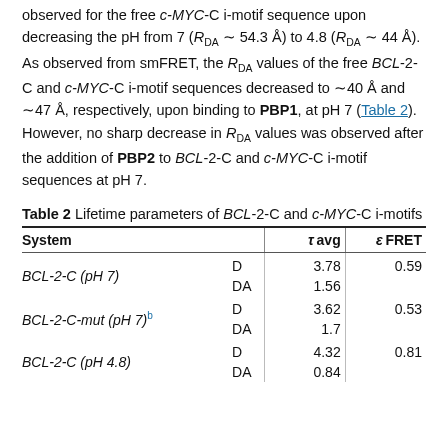observed for the free c-MYC-C i-motif sequence upon decreasing the pH from 7 (R_DA ~ 54.3 Å) to 4.8 (R_DA ~ 44 Å). As observed from smFRET, the R_DA values of the free BCL-2-C and c-MYC-C i-motif sequences decreased to ~40 Å and ~47 Å, respectively, upon binding to PBP1, at pH 7 (Table 2). However, no sharp decrease in R_DA values was observed after the addition of PBP2 to BCL-2-C and c-MYC-C i-motif sequences at pH 7.
Table 2 Lifetime parameters of BCL-2-C and c-MYC-C i-motifs
| System |  | τ avg | ε FRET |
| --- | --- | --- | --- |
| BCL-2-C (pH 7) | D | 3.78 | 0.59 |
|  | DA | 1.56 |  |
| BCL-2-C-mut (pH 7) b | D | 3.62 | 0.53 |
|  | DA | 1.7 |  |
| BCL-2-C (pH 4.8) | D | 4.32 | 0.81 |
|  | DA | 0.84 |  |